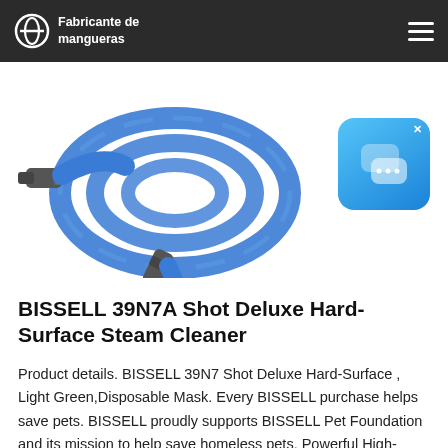Fabricante de mangueras
[Figure (photo): A coiled blue high-pressure hose with metal fittings on both ends, displayed on a white background. A blue chat app icon widget with speech bubbles appears in the upper right corner.]
BISSELL 39N7A Shot Deluxe Hard-Surface Steam Cleaner
Product details. BISSELL 39N7 Shot Deluxe Hard-Surface , Light Green,Disposable Mask. Every BISSELL purchase helps save pets. BISSELL proudly supports BISSELL Pet Foundation and its mission to help save homeless pets. Powerful High-Pressure Steam Cleaner